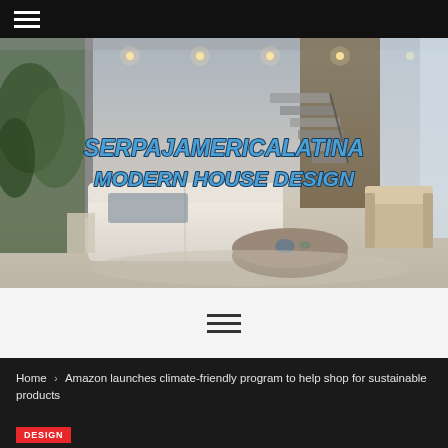Navigation menu (hamburger icon)
[Figure (photo): Modern luxury interior living room with white sofa, round coffee table, staircase, recessed ceiling lights, and floor-to-ceiling windows. Overlaid with branded text: SERPAJAMERICALATINA MODERN HOUSE DESIGN in bold blue italic lettering.]
≡ (hamburger menu icon)
Home > Amazon launches climate-friendly program to help shop for sustainable products
DESIGN